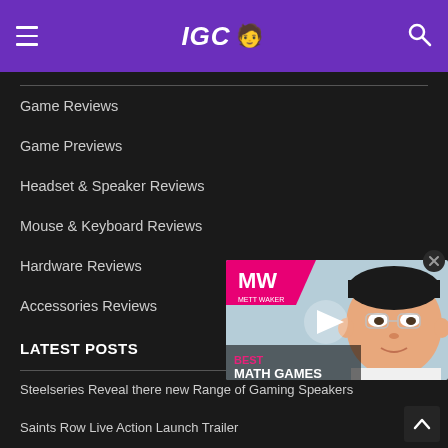IGC 🧑‍💻
Game Reviews
Game Previews
Headset & Speaker Reviews
Mouse & Keyboard Reviews
Hardware Reviews
Accessories Reviews
LATEST POSTS
[Figure (screenshot): MW (Mett Waker) promotional video thumbnail showing a cartoon face and text 'BEST MATH GAMES']
Steelseries Reveal there new Range of Gaming Speakers
Saints Row Live Action Launch Trailer